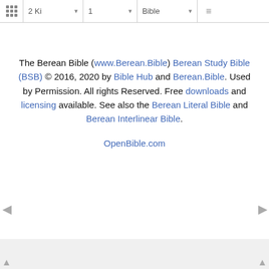2 Ki   1   Bible
The Berean Bible (www.Berean.Bible) Berean Study Bible (BSB) © 2016, 2020 by Bible Hub and Berean.Bible. Used by Permission. All rights Reserved. Free downloads and licensing available. See also the Berean Literal Bible and Berean Interlinear Bible.
OpenBible.com